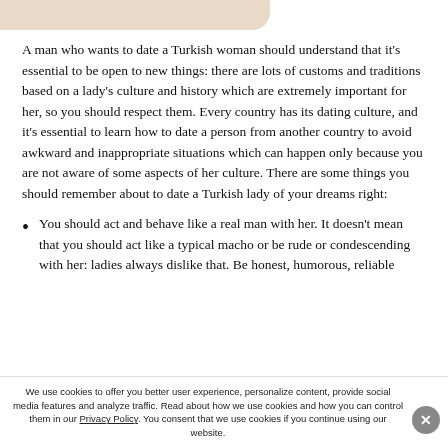[Figure (illustration): Partial decorative image in top-left corner, beige/tan colored shape]
A man who wants to date a Turkish woman should understand that it's essential to be open to new things: there are lots of customs and traditions based on a lady's culture and history which are extremely important for her, so you should respect them. Every country has its dating culture, and it's essential to learn how to date a person from another country to avoid awkward and inappropriate situations which can happen only because you are not aware of some aspects of her culture. There are some things you should remember about to date a Turkish lady of your dreams right:
You should act and behave like a real man with her. It doesn't mean that you should act like a typical macho or be rude or condescending with her: ladies always dislike that. Be honest, humorous, reliable
We use cookies to offer you better user experience, personalize content, provide social media features and analyze traffic. Read about how we use cookies and how you can control them in our Privacy Policy. You consent that we use cookies if you continue using our website.